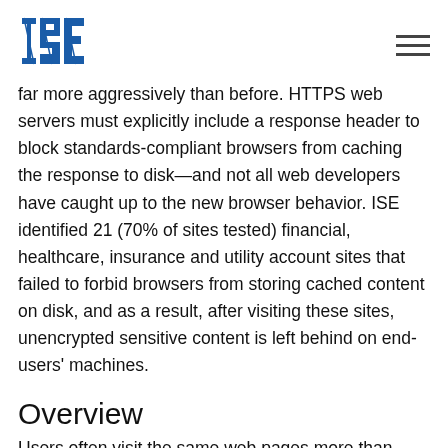ISE logo and navigation
far more aggressively than before. HTTPS web servers must explicitly include a response header to block standards-compliant browsers from caching the response to disk—and not all web developers have caught up to the new browser behavior. ISE identified 21 (70% of sites tested) financial, healthcare, insurance and utility account sites that failed to forbid browsers from storing cached content on disk, and as a result, after visiting these sites, unencrypted sensitive content is left behind on end-users' machines.
Overview
Users often visit the same web pages more than once...